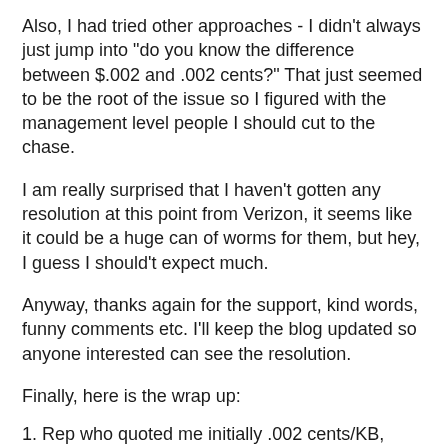Also, I had tried other approaches - I didn't always just jump into "do you know the difference between $.002 and .002 cents?" That just seemed to be the root of the issue so I figured with the management level people I should cut to the chase.
I am really surprised that I haven't gotten any resolution at this point from Verizon, it seems like it could be a huge can of worms for them, but hey, I guess I should't expect much.
Anyway, thanks again for the support, kind words, funny comments etc. I'll keep the blog updated so anyone interested can see the resolution.
Finally, here is the wrap up:
1. Rep who quoted me initially .002 cents/KB, confirmed the rate, the one who wrote the first note in the account.
2. Brie: rep I called first, went through the same stuff, she seemed to get it, even noted .002 cents/KB on my notes, but then left me a voicemail saying the charges were correct and there would be no credit. Conveniently she never mentioned